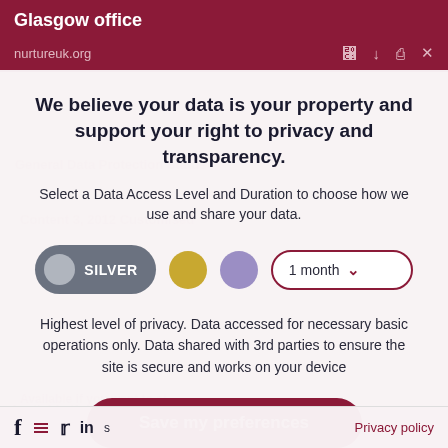Glasgow office
nurtureuk.org
We believe your data is your property and support your right to privacy and transparency.
Select a Data Access Level and Duration to choose how we use and share your data.
[Figure (infographic): Privacy level selector showing SILVER toggle button (active), a gold circle, a purple circle, and a '1 month' dropdown selector]
Highest level of privacy. Data accessed for necessary basic operations only. Data shared with 3rd parties to ensure the site is secure and works on your device
Save my preferences
Privacy policy